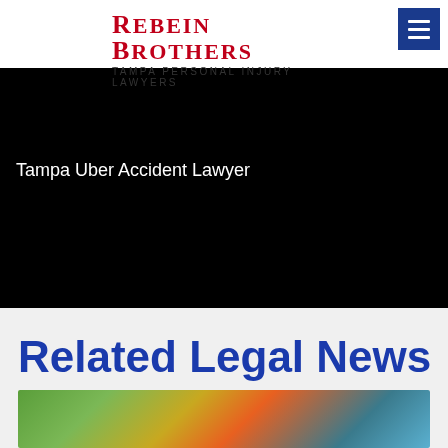Rebein Brothers — Tampa Personal Injury Lawyers
Tampa Uber Accident Lawyer
Related Legal News
[Figure (photo): Outdoor photo showing a car and trees with autumn foliage]